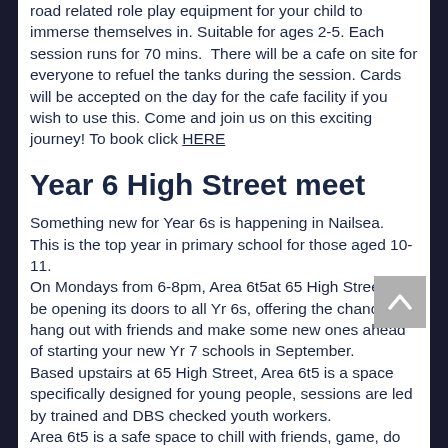road related role play equipment for your child to immerse themselves in. Suitable for ages 2-5. Each session runs for 70 mins. There will be a cafe on site for everyone to refuel the tanks during the session. Cards will be accepted on the day for the cafe facility if you wish to use this. Come and join us on this exciting journey! To book click HERE
Year 6 High Street meet
Something new for Year 6s is happening in Nailsea.
This is the top year in primary school for those aged 10-11.
On Mondays from 6-8pm, Area 6t5at 65 High Streetwill be opening its doors to all Yr 6s, offering the chance to hang out with friends and make some new ones ahead of starting your new Yr 7 schools in September.
Based upstairs at 65 High Street, Area 6t5 is a space specifically designed for young people, sessions are led by trained and DBS checked youth workers.
Area 6t5 is a safe space to chill with friends, game, do homework, cook, craft